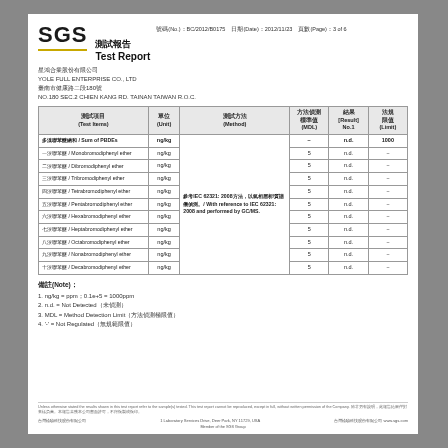[Figure (logo): SGS logo with yellow underline]
測試報告 / Test Report  號碼(No.): BC/2012/B0175  日期(Date): 2012/11/23  頁數(Page): 3 of 6
星鴻合業股份有限公司
YOLE FULL ENTERPRISE CO., LTD
臺南市健康路二段180號
NO.180 SEC.2 CHIEN KANG RD. TAINAN TAIWAN R.O.C.
| 測試項目 (Test Items) | 單位 (Unit) | 測試方法 (Method) | 方法偵測標準值 (MDL) | 結果 (Result) No.1 | 法規限值 (Limit) |
| --- | --- | --- | --- | --- | --- |
| 多溴聯苯醚總和 / Sum of PBDEs | ng/kg |  | － | n.d. | 1000 |
| 一溴聯苯醚 / Monobromodiphenyl ether | ng/kg |  | 5 | n.d. | － |
| 二溴聯苯醚 / Dibromodiphenyl ether | ng/kg |  | 5 | n.d. | － |
| 三溴聯苯醚 / Tribromodiphenyl ether | ng/kg |  | 5 | n.d. | － |
| 四溴聯苯醚 / Tetrabromodiphenyl ether | ng/kg | 參考IEC 62321: 2008方法, 以氣相層析/質譜儀偵測。/ With reference to IEC 62321: 2008 and performed by GC/MS. | 5 | n.d. | － |
| 五溴聯苯醚 / Pentabromodiphenyl ether | ng/kg |  | 5 | n.d. | － |
| 六溴聯苯醚 / Hexabromodiphenyl ether | ng/kg |  | 5 | n.d. | － |
| 七溴聯苯醚 / Heptabromodiphenyl ether | ng/kg |  | 5 | n.d. | － |
| 八溴聯苯醚 / Octabromodiphenyl ether | ng/kg |  | 5 | n.d. | － |
| 九溴聯苯醚 / Nonabromodiphenyl ether | ng/kg |  | 5 | n.d. | － |
| 十溴聯苯醚 / Decabromodiphenyl ether | ng/kg |  | 5 | n.d. | － |
備註(Note):
1. ng/kg = ppm; 0.1e+5 = 1000ppm
2. n.d. = Not Detected (未偵測)
3. MDL = Method Detection Limit (方法偵測極限值)
4. '-' = Not Regulated (無規範限值)